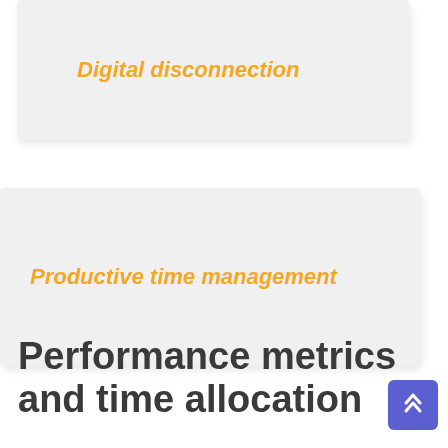Digital disconnection
Productive time management
Performance metrics and time allocation